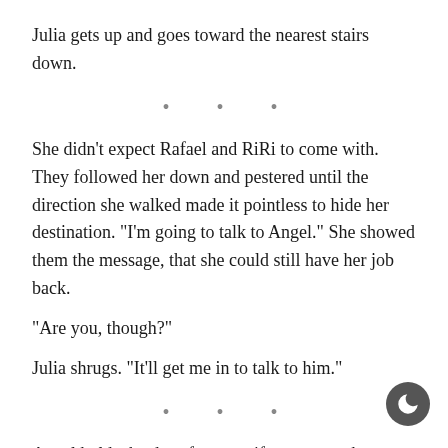Julia gets up and goes toward the nearest stairs down.
• • •
She didn't expect Rafael and RiRi to come with. They followed her down and pestered until the direction she walked made it pointless to hide her destination. “I’m going to talk to Angel.” She showed them the message, that she could still have her job back.
“Are you, though?”
Julia shrugs. “It’ll get me in to talk to him.”
• • •
Angel holds the door frame as if to prevent them from entering the administrative